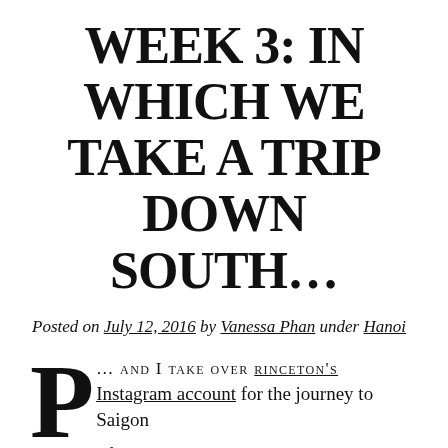WEEK 3: IN WHICH WE TAKE A TRIP DOWN SOUTH…
Posted on July 12, 2016 by Vanessa Phan under Hanoi
P… AND I TAKE OVER RINCETON'S Instagram account for the journey to Saigon where we:
eat